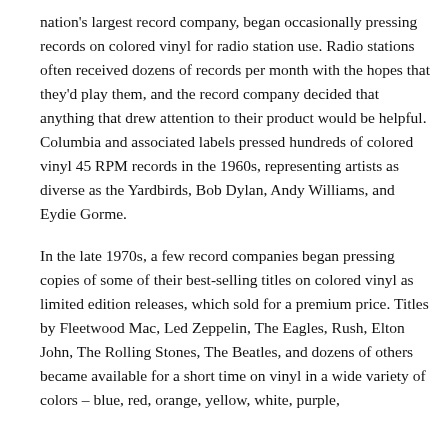nation's largest record company, began occasionally pressing records on colored vinyl for radio station use. Radio stations often received dozens of records per month with the hopes that they'd play them, and the record company decided that anything that drew attention to their product would be helpful. Columbia and associated labels pressed hundreds of colored vinyl 45 RPM records in the 1960s, representing artists as diverse as the Yardbirds, Bob Dylan, Andy Williams, and Eydie Gorme.
In the late 1970s, a few record companies began pressing copies of some of their best-selling titles on colored vinyl as limited edition releases, which sold for a premium price. Titles by Fleetwood Mac, Led Zeppelin, The Eagles, Rush, Elton John, The Rolling Stones, The Beatles, and dozens of others became available for a short time on vinyl in a wide variety of colors – blue, red, orange, yellow, white, purple,